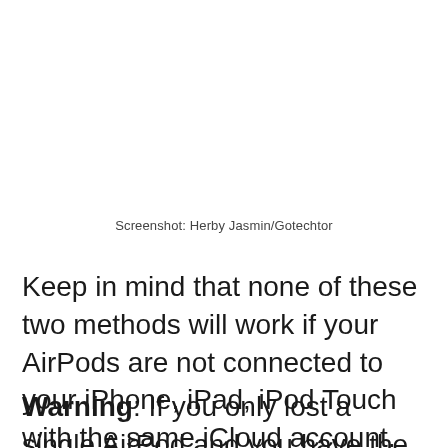Screenshot: Herby Jasmin/Gotechtor
Keep in mind that none of these two methods will work if your AirPods are not connected to your iPhone, iPad, iPod Touch with the same iCloud account.
Warning: If you only lost a single AirPod and you have the other one in your ear,